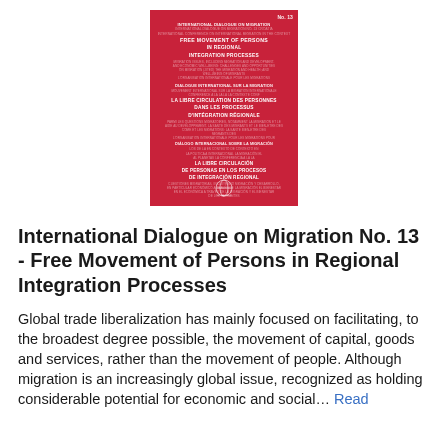[Figure (photo): Book cover of International Dialogue on Migration No. 13 - Free Movement of Persons in Regional Integration Processes. Red cover with multilingual text in English, French, and Spanish, with an IOM logo at the bottom.]
International Dialogue on Migration No. 13 - Free Movement of Persons in Regional Integration Processes
Global trade liberalization has mainly focused on facilitating, to the broadest degree possible, the movement of capital, goods and services, rather than the movement of people. Although migration is an increasingly global issue, recognized as holding considerable potential for economic and social… Read